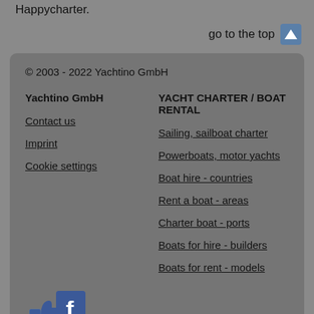Happycharter.
go to the top
© 2003 - 2022 Yachtino GmbH
Yachtino GmbH
YACHT CHARTER / BOAT RENTAL
Contact us
Sailing, sailboat charter
Imprint
Powerboats, motor yachts
Cookie settings
Boat hire - countries
Rent a boat - areas
Charter boat - ports
Boats for hire - builders
Boats for rent - models
[Figure (logo): Facebook like/thumbs-up icon with Facebook logo]